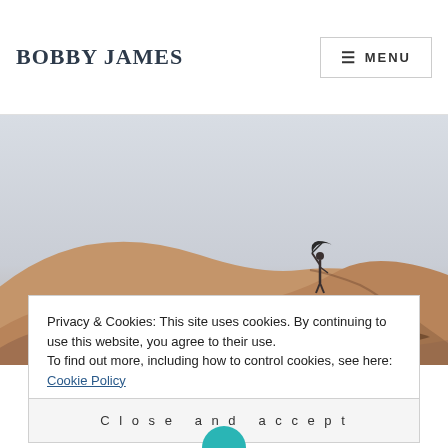BOBBY JAMES
≡ MENU
[Figure (photo): Desert sand dunes with a person holding an umbrella standing on a dune crest against a pale sky]
Privacy & Cookies: This site uses cookies. By continuing to use this website, you agree to their use.
To find out more, including how to control cookies, see here: Cookie Policy
Close and accept